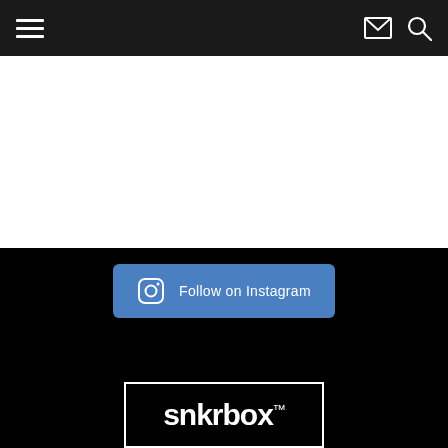Navigation bar with hamburger menu, email icon, and search icon
[Figure (screenshot): White content area below navigation bar]
[Figure (illustration): Blue Follow on Instagram button with Instagram icon on black background]
[Figure (logo): snkrbox trademark logo in white text with border on black background]